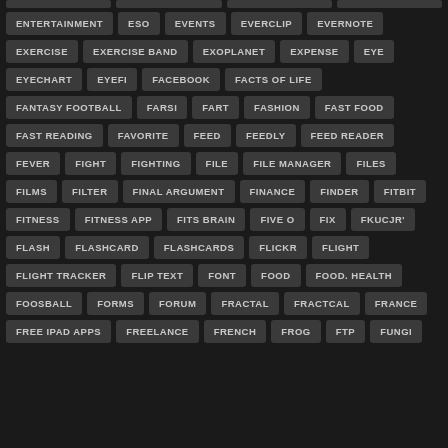ENTERTAINMENT
ESO
EVENTS
EVERCLIP
EVERNOTE
EXERCISE
EXERCISE BAND
EXOPLANET
EXPENSE
EYE
EYECHART
EYEFI
FACEBOOK
FACTS OF LIFE
FANTASY FOOTBALL
FARSI
FART
FASHION
FAST FOOD
FAST READING
FAVORITE
FEED
FEEDLY
FEED READER
FEVER
FIGHT
FIGHTING
FILE
FILE MANAGER
FILES
FILMS
FILTER
FINAL ARGUMENT
FINANCE
FINDER
FITBIT
FITNESS
FITNESS APP
FITS BRAIN
FIVE O
FIX
FKUCJR'
FLASH
FLASHCARD
FLASHCARDS
FLICKR
FLIGHT
FLIGHT TRACKER
FLIP TEXT
FONT
FOOD
FOOD. HEALTH
FOOSBALL
FORMS
FORUM
FRACTAL
FRACTCAL
FRANCE
FREE IPAD APPS
FREELANCE
FRENCH
FROG
FTP
FUNGI